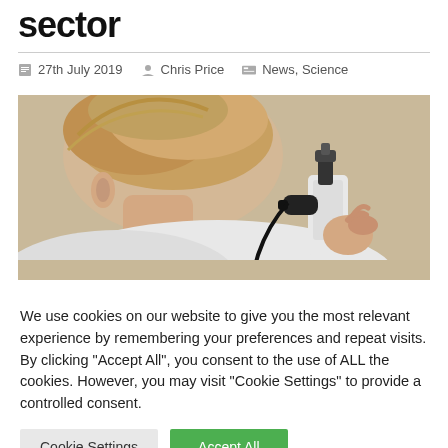sector
27th July 2019  Chris Price  News, Science
[Figure (photo): A woman with blonde hair viewed from behind, looking through a microscope or optical instrument, held in her right hand. Scientific laboratory setting.]
We use cookies on our website to give you the most relevant experience by remembering your preferences and repeat visits. By clicking "Accept All", you consent to the use of ALL the cookies. However, you may visit "Cookie Settings" to provide a controlled consent.
Cookie Settings   Accept All